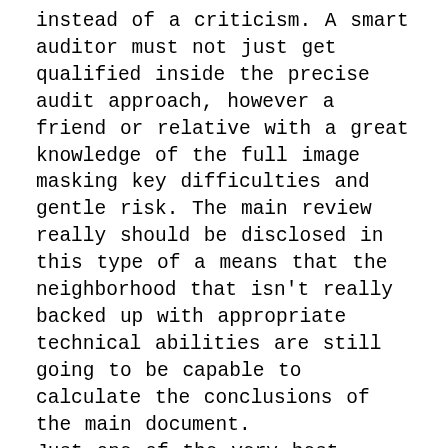instead of a criticism. A smart auditor must not just get qualified inside the precise audit approach, however a friend or relative with a great knowledge of the full image masking key difficulties and gentle risk. The main review really should be disclosed in this type of a means that the neighborhood that isn't really backed up with appropriate technical abilities are still going to be capable to calculate the conclusions of the main document. Just one of the very best details about hiring authorities for review is which they will give updated assessment in amongst the corporate surgery along with the administration specifications. The number with the secrets are by which the experts typically supply with answers are with all the readiness groundwork, rectification